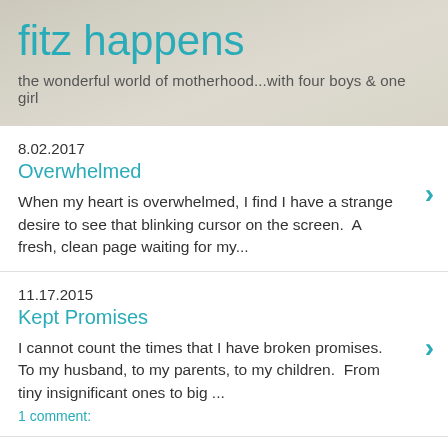fitz happens
the wonderful world of motherhood...with four boys & one girl
8.02.2017
Overwhelmed
When my heart is overwhelmed, I find I have a strange desire to see that blinking cursor on the screen.  A fresh, clean page waiting for my...
11.17.2015
Kept Promises
I cannot count the times that I have broken promises.  To my husband, to my parents, to my children.  From tiny insignificant ones to big ...
1 comment:
12.29.2014